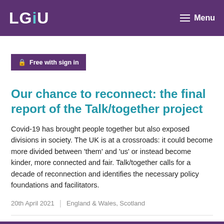LGiU  Menu
Free with sign in
Our chance to reconnect: the final report of the Talk/together project
Covid-19 has brought people together but also exposed divisions in society. The UK is at a crossroads: it could become more divided between 'them' and 'us' or instead become kinder, more connected and fair. Talk/together calls for a decade of reconnection and identifies the necessary policy foundations and facilitators.
20th April 2021  |  England & Wales, Scotland